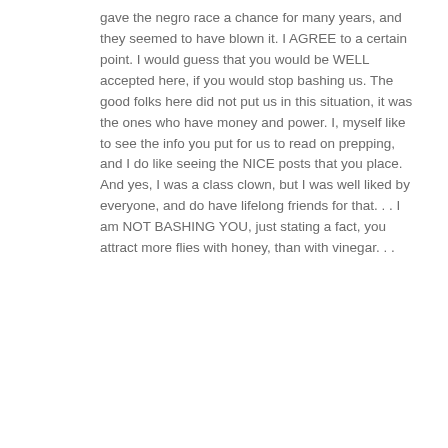gave the negro race a chance for many years, and they seemed to have blown it. I AGREE to a certain point. I would guess that you would be WELL accepted here, if you would stop bashing us. The good folks here did not put us in this situation, it was the ones who have money and power. I, myself like to see the info you put for us to read on prepping, and I do like seeing the NICE posts that you place. And yes, I was a class clown, but I was well liked by everyone, and do have lifelong friends for that. . . I am NOT BASHING YOU, just stating a fact, you attract more flies with honey, than with vinegar. . .